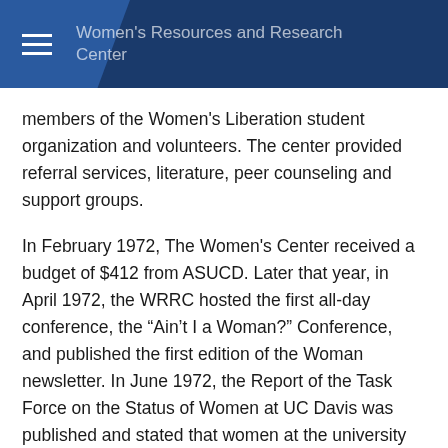Women's Resources and Research Center
members of the Women's Liberation student organization and volunteers. The center provided referral services, literature, peer counseling and support groups.
In February 1972, The Women's Center received a budget of $412 from ASUCD. Later that year, in April 1972, the WRRC hosted the first all-day conference, the “Ain’t I a Woman?” Conference, and published the first edition of the Woman newsletter. In June 1972, the Report of the Task Force on the Status of Women at UC Davis was published and stated that women at the university were still marginalized due to a lack of continuing education program, scholarships, fellowships and inadequate childcare. The report highlighted the need for a Women’s Center on the UC Davis campus. In October that year, the Women’s Center moved to Temporary Building (TB) 124. In